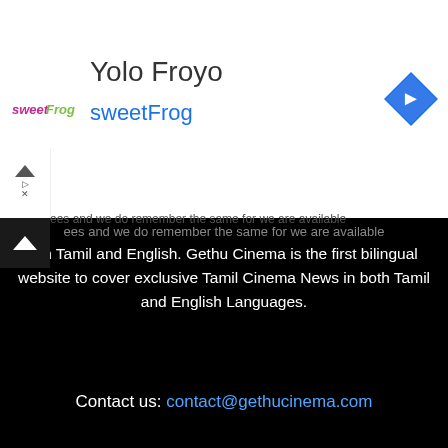[Figure (screenshot): Advertisement banner for Yolo Froyo / sweetFrog with logo, text, and navigation arrow icon]
...ees and we do remember the same for we are available both Tamil and English. Gethu Cinema is the first bilingual website to cover exclusive Tamil Cinema News in both Tamil and English Languages.
Contact us: contact@gethucinema.com
FOLLOW US
[Figure (infographic): Social media icons: Facebook, Google+, Instagram, Twitter]
© © Gethu Cinema. All Rights Reserved | Privacy Policy | Terms & Conditions